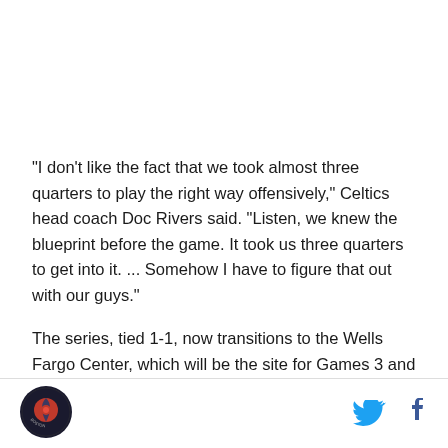"I don't like the fact that we took almost three quarters to play the right way offensively," Celtics head coach Doc Rivers said. "Listen, we knew the blueprint before the game. It took us three quarters to get into it. ... Somehow I have to figure that out with our guys."
The series, tied 1-1, now transitions to the Wells Fargo Center, which will be the site for Games 3 and 4 on Wednesday (7 p.m. EST) and Friday night (8 p.m.
[Figure (logo): Circular logo with red and blue design on dark background, text around the bottom reads something indistinct]